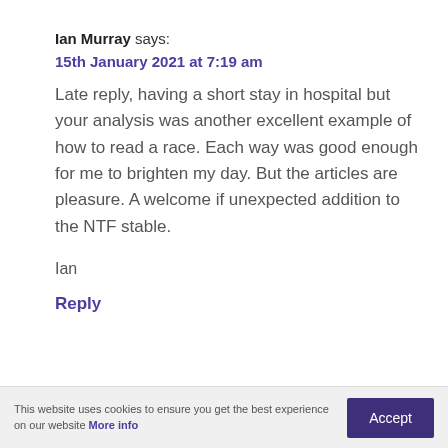Ian Murray says:
15th January 2021 at 7:19 am
Late reply, having a short stay in hospital but your analysis was another excellent example of how to read a race. Each way was good enough for me to brighten my day. But the articles are pleasure. A welcome if unexpected addition to the NTF stable.
Ian
Reply
This website uses cookies to ensure you get the best experience on our website More info   Accept